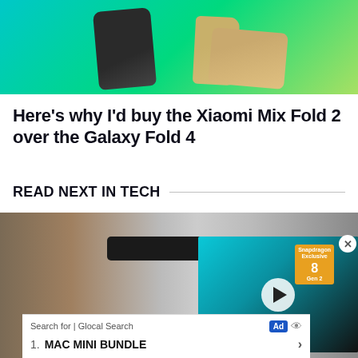[Figure (photo): Hero image showing Xiaomi Mix Fold 2 and Samsung Galaxy Fold 4 phones on a teal-to-green gradient background]
Here's why I'd buy the Xiaomi Mix Fold 2 over the Galaxy Fold 4
READ NEXT IN TECH
[Figure (screenshot): Article image showing a Google Pixel 6 smartphone with a floating video overlay showing a tech daily video with 'DAILY.' text, Snapdragon Exclusive badge, and a play button. An ad banner is overlaid at the bottom showing 'Search for | Glocal Search' with item '1. MAC MINI BUNDLE']
Search for | Glocal Search
1. MAC MINI BUNDLE